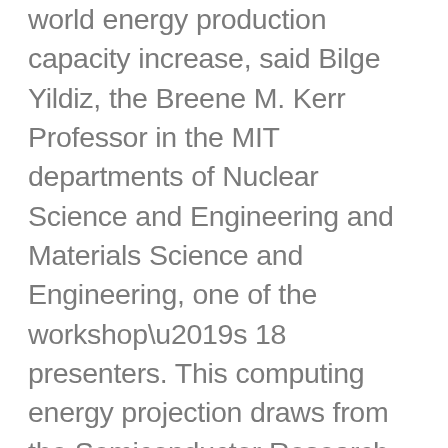world energy production capacity increase, said Bilge Yildiz, the Breene M. Kerr Professor in the MIT departments of Nuclear Science and Engineering and Materials Science and Engineering, one of the workshop's 18 presenters. This computing energy projection draws from the Semiconductor Research Corporations's decadal report.To cite just one example: Information and communications technology already account for more than 2 percent of global energy demand, which is on a par with the aviation industries emissions from fuel.“We are the very beginning of this data-driven world. We really need to start thinking about this and act now,” said presenter Evgeni Gousey, senior director at Qualcomm